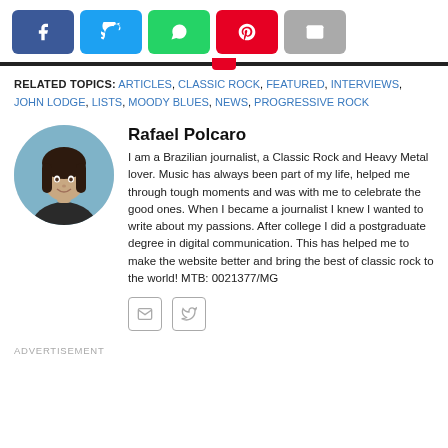[Figure (other): Social share buttons: Facebook (blue), Twitter (light blue), WhatsApp (green), Pinterest (red), Email (grey)]
RELATED TOPICS: ARTICLES, CLASSIC ROCK, FEATURED, INTERVIEWS, JOHN LODGE, LISTS, MOODY BLUES, NEWS, PROGRESSIVE ROCK
Rafael Polcaro
[Figure (photo): Circular avatar photo of Rafael Polcaro, a man with dark hair]
I am a Brazilian journalist, a Classic Rock and Heavy Metal lover. Music has always been part of my life, helped me through tough moments and was with me to celebrate the good ones. When I became a journalist I knew I wanted to write about my passions. After college I did a postgraduate degree in digital communication. This has helped me to make the website better and bring the best of classic rock to the world! MTB: 0021377/MG
[Figure (other): Email and Twitter social icon buttons for author]
ADVERTISEMENT